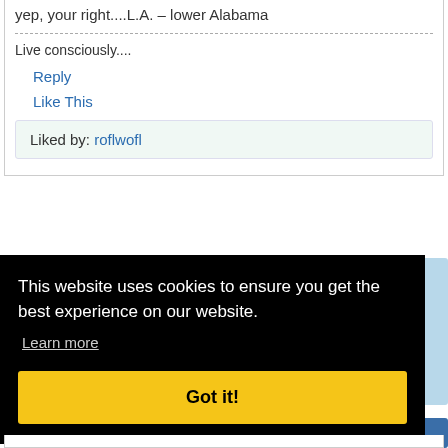yep, your right....L.A. – lower Alabama
Live consciously....
Reply
Like This
Liked by: roflwofl
This website uses cookies to ensure you get the best experience on our website.
Learn more
Got it!